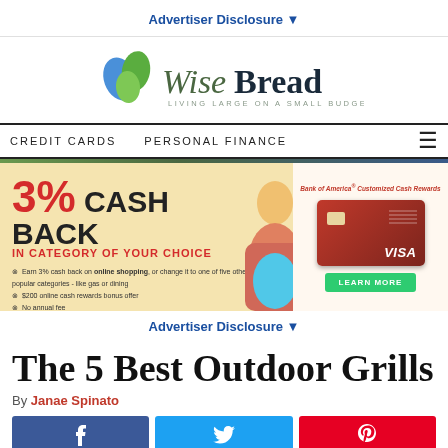Advertiser Disclosure ▼
[Figure (logo): WiseBread logo with leaf icon and tagline 'Living Large on a Small Budget']
CREDIT CARDS   PERSONAL FINANCE   ☰
[Figure (infographic): Bank of America Customized Cash Rewards credit card advertisement: 3% Cash Back in category of your choice. Earn 3% cash back on online shopping, or change it to one of five other popular categories - like gas or dining. $200 online cash rewards bonus offer. No annual fee. LEARN MORE button.]
Advertiser Disclosure ▼
The 5 Best Outdoor Grills
By Janae Spinato